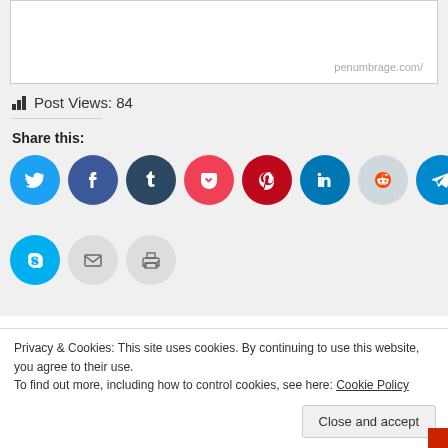direct debit expires?
penumbrage.com/
Post Views: 84
Share this:
[Figure (infographic): Row of social media share buttons: Twitter (light blue), Facebook (blue), Tumblr (dark blue), Pocket (red), Pinterest (dark red), LinkedIn (teal), Reddit (light grey), Telegram (dark teal), WhatsApp (green). Second row: Skype (blue), Email (grey), Print (grey).]
« How UK Mental Health
Some
Privacy & Cookies: This site uses cookies. By continuing to use this website, you agree to their use.
To find out more, including how to control cookies, see here: Cookie Policy
Close and accept